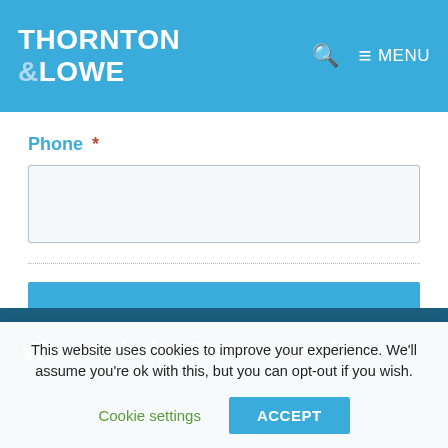THORNTON & LOWE
Phone *
Next
We can help. Contact us for:
This website uses cookies to improve your experience. We'll assume you're ok with this, but you can opt-out if you wish.
Cookie settings
ACCEPT